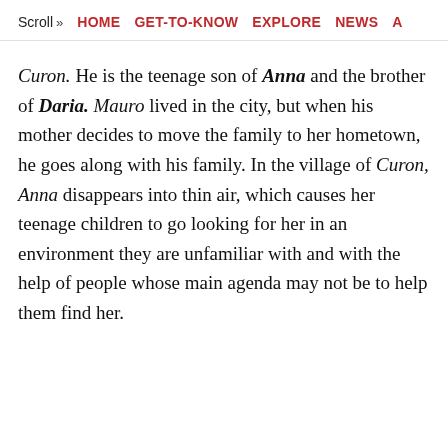Scroll >> HOME  GET-TO-KNOW  EXPLORE  NEWS  A
Curon. He is the teenage son of Anna and the brother of Daria. Mauro lived in the city, but when his mother decides to move the family to her hometown, he goes along with his family. In the village of Curon, Anna disappears into thin air, which causes her teenage children to go looking for her in an environment they are unfamiliar with and with the help of people whose main agenda may not be to help them find her.